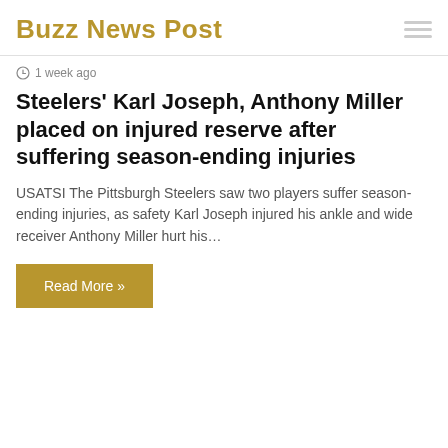Buzz News Post
1 week ago
Steelers' Karl Joseph, Anthony Miller placed on injured reserve after suffering season-ending injuries
USATSI The Pittsburgh Steelers saw two players suffer season-ending injuries, as safety Karl Joseph injured his ankle and wide receiver Anthony Miller hurt his…
Read More »